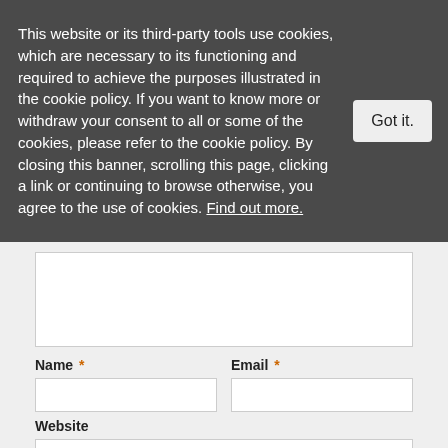This website or its third-party tools use cookies, which are necessary to its functioning and required to achieve the purposes illustrated in the cookie policy. If you want to know more or withdraw your consent to all or some of the cookies, please refer to the cookie policy. By closing this banner, scrolling this page, clicking a link or continuing to browse otherwise, you agree to the use of cookies. Find out more.
Name * Email *
Website